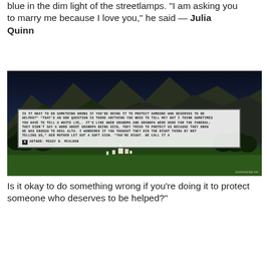blue in the dim light of the streetlamps. "I am asking you to marry me because I love you," he said — Julia Quinn
[Figure (photo): Scenic mountain landscape with dark sky, green valley and village below. Overlaid text quote from Peggy B. Mcaloon about doing something wrong to protect someone who deserves to be helped. Watermark: quotesayings.net]
Is it okay to do something wrong if you're doing it to protect someone who deserves to be helped?"